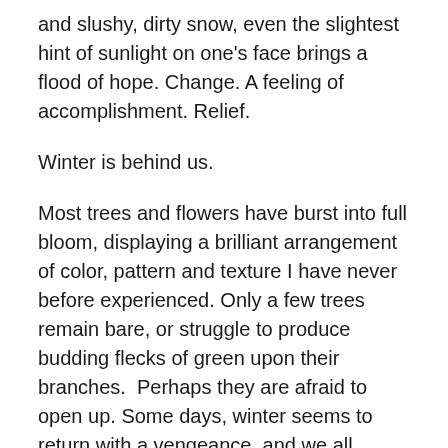and slushy, dirty snow, even the slightest hint of sunlight on one's face brings a flood of hope. Change. A feeling of accomplishment. Relief.
Winter is behind us.
Most trees and flowers have burst into full bloom, displaying a brilliant arrangement of color, pattern and texture I have never before experienced. Only a few trees remain bare, or struggle to produce budding flecks of green upon their branches.  Perhaps they are afraid to open up. Some days, winter seems to return with a vengeance, and we all question if this new season of warmth, breeze and comfort is here to stay.
This past week, however, each morning has proved faithful. The sun warms the east, even through cloudy skies. The birds chatter, chirp and sing noisily. Winter...